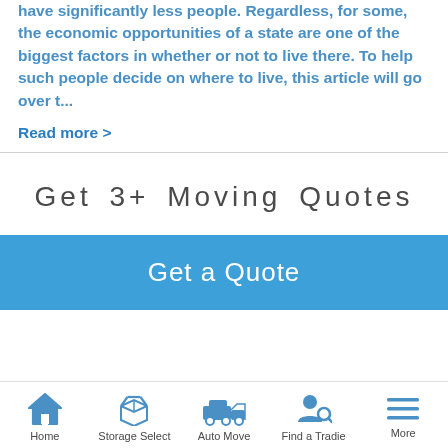have significantly less people. Regardless, for some, the economic opportunities of a state are one of the biggest factors in whether or not to live there. To help such people decide on where to live, this article will go over t…
Read more >
Get 3+ Moving Quotes
Get a Quote
[Figure (infographic): Bottom navigation bar with 5 icons: Home (house icon), Storage Select (open box icon), Auto Move (car/truck icon), Find a Tradie (person with magnifier icon), More (hamburger menu icon)]